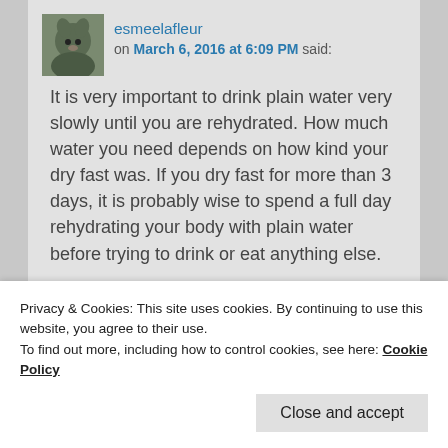[Figure (photo): Avatar photo of a German Shepherd dog outdoors]
esmeelafleur
on March 6, 2016 at 6:09 PM said:
It is very important to drink plain water very slowly until you are rehydrated. How much water you need depends on how kind your dry fast was. If you dry fast for more than 3 days, it is probably wise to spend a full day rehydrating your body with plain water before trying to drink or eat anything else.
★ Like
Reply ↓
Privacy & Cookies: This site uses cookies. By continuing to use this website, you agree to their use.
To find out more, including how to control cookies, see here: Cookie Policy
Close and accept